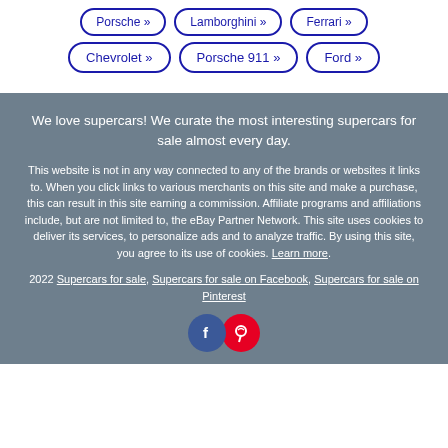Porsche »
Lamborghini »
Ferrari »
Chevrolet »
Porsche 911 »
Ford »
We love supercars! We curate the most interesting supercars for sale almost every day.
This website is not in any way connected to any of the brands or websites it links to. When you click links to various merchants on this site and make a purchase, this can result in this site earning a commission. Affiliate programs and affiliations include, but are not limited to, the eBay Partner Network. This site uses cookies to deliver its services, to personalize ads and to analyze traffic. By using this site, you agree to its use of cookies. Learn more.
2022 Supercars for sale, Supercars for sale on Facebook, Supercars for sale on Pinterest